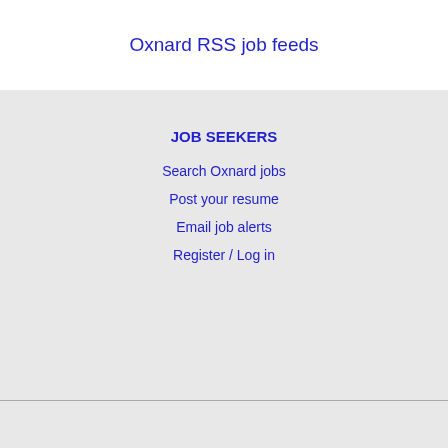Oxnard RSS job feeds
JOB SEEKERS
Search Oxnard jobs
Post your resume
Email job alerts
Register / Log in